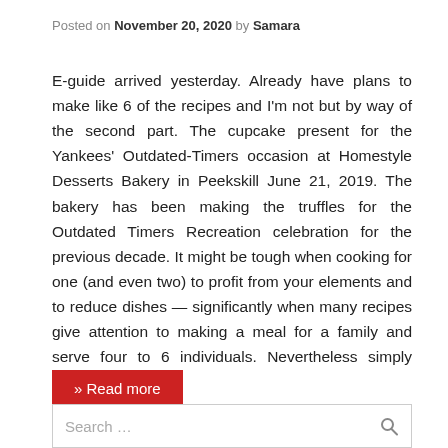Posted on November 20, 2020 by Samara
E-guide arrived yesterday. Already have plans to make like 6 of the recipes and I'm not but by way of the second part. The cupcake present for the Yankees' Outdated-Timers occasion at Homestyle Desserts Bakery in Peekskill June 21, 2019. The bakery has been making the truffles for the Outdated Timers Recreation celebration for the previous decade. It might be tough when cooking for one (and even two) to profit from your elements and to reduce dishes — significantly when many recipes give attention to making a meal for a family and serve four to 6 individuals. Nevertheless simply because ...
» Read more
Search ...